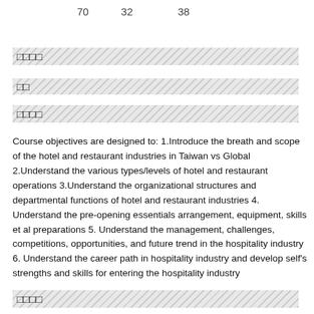70   32   38
□□□□
□□
□□□□
Course objectives are designed to: 1.Introduce the breath and scope of the hotel and restaurant industries in Taiwan vs Global 2.Understand the various types/levels of hotel and restaurant operations 3.Understand the organizational structures and departmental functions of hotel and restaurant industries 4. Understand the pre-opening essentials arrangement, equipment, skills et al preparations 5. Understand the management, challenges, competitions, opportunities, and future trend in the hospitality industry 6. Understand the career path in hospitality industry and develop self's strengths and skills for entering the hospitality industry
□□□□